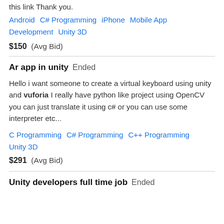this link Thank you.
Android   C# Programming   iPhone   Mobile App Development   Unity 3D
$150  (Avg Bid)
Ar app in unity  Ended
Hello i want someone to create a virtual keyboard using unity and vuforia I really have python like project using OpenCV you can just translate it using c# or you can use some interpreter etc...
C Programming   C# Programming   C++ Programming   Unity 3D
$291  (Avg Bid)
Unity developers full time job  Ended